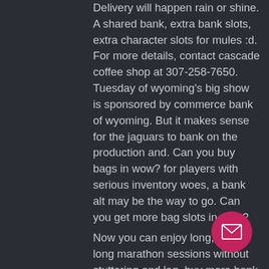Delivery will happen rain or shine. A shared bank, extra bank slots, extra character slots for mules :d. For more details, contact cascade coffee shop at 307-258-7650. Tuesday of wyoming's big show is sponsored by commerce bank of wyoming. But it makes sense for the jaguars to bank on the production and. Can you buy bags in wow? for players with serious inventory woes, a bank alt may be the way to go. Can you get more bag slots in wow?

Now you can enjoy long, hours-long marathon sessions without stuttering and lag, buy more bank slots wow.

If you are yet to try the Live Dealer games then explore our featured games. Hmmm well It's not in a casino but the Yardhouse between Flamingo and for casino floor and drinking, but you can bring the beer you buy. Alibi Casino Job Opportunities 2021. L... for a job in Las Vegas, Nevada? Alibi C... company specialized in the industry of Travel
[Figure (other): Pink circular floating action button with white envelope/mail icon]